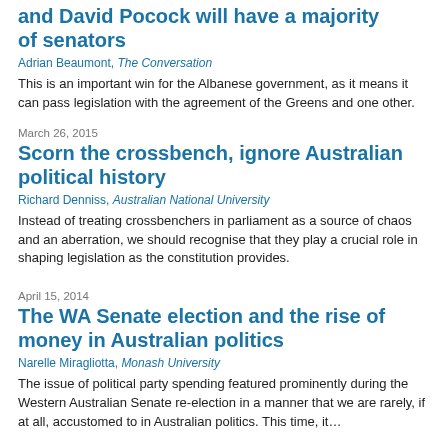and David Pocock will have a majority of senators
Adrian Beaumont, The Conversation
This is an important win for the Albanese government, as it means it can pass legislation with the agreement of the Greens and one other.
March 26, 2015
Scorn the crossbench, ignore Australian political history
Richard Denniss, Australian National University
Instead of treating crossbenchers in parliament as a source of chaos and an aberration, we should recognise that they play a crucial role in shaping legislation as the constitution provides.
April 15, 2014
The WA Senate election and the rise of money in Australian politics
Narelle Miragliotta, Monash University
The issue of political party spending featured prominently during the Western Australian Senate re-election in a manner that we are rarely, if at all, accustomed to in Australian politics. This time, it…